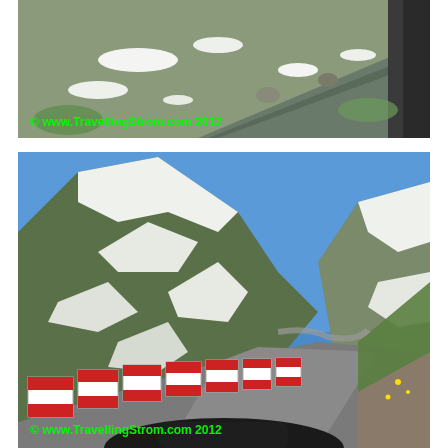[Figure (photo): Top-down angled view of a mountain road with snow patches, guardrail visible on right side, rocky green hillside. Watermark: © www.TravellingStrom.com 2012]
[Figure (photo): Mountain road scene with red and white road barriers/blocks on left side of curved road, snow-covered mountain slopes in background under clear blue sky, motorcycle handlebars visible at bottom. Watermark: © www.TravellingStrom.com 2012]